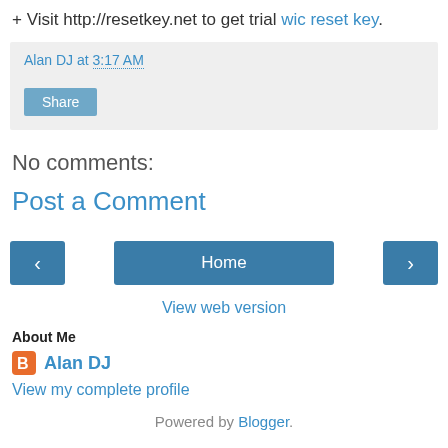+ Visit http://resetkey.net to get trial wic reset key.
Alan DJ at 3:17 AM
Share
No comments:
Post a Comment
‹ Home ›
View web version
About Me
Alan DJ
View my complete profile
Powered by Blogger.